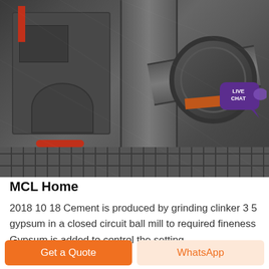[Figure (photo): Industrial cement ball mill machinery — large cylindrical drum, pipes, metal framework in a factory setting with a LIVE CHAT bubble overlay in top-right corner]
MCL Home
2018 10 18 Cement is produced by grinding clinker 3 5 gypsum in a closed circuit ball mill to required fineness Gypsum is added to control the setting
Get a Quote
WhatsApp